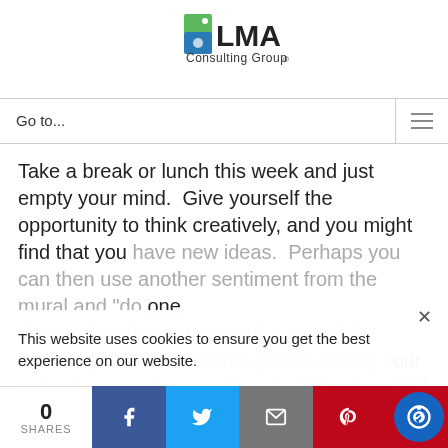[Figure (logo): LMA Consulting Group logo with green and blue icon and text]
Go to...
Take a break or lunch this week and just empty your mind.  Give yourself the opportunity to think creatively, and you might find that you have new ideas.  Perhaps you can then use another sentiment from the mural and "do one thing a day that scares you" – it could be believing in your idea enough to run it by your colleagues, customers, Board of Directors and also bl...
This website uses cookies to ensure you get the best experience on our website.
0 SHARES